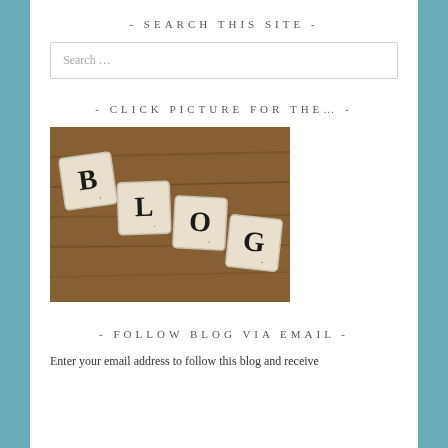- SEARCH THIS SITE -
Search …
- CLICK PICTURE FOR THE… -
[Figure (photo): Scrabble tiles spelling out BLOG on a wooden surface]
- FOLLOW BLOG VIA EMAIL -
Enter your email address to follow this blog and receive